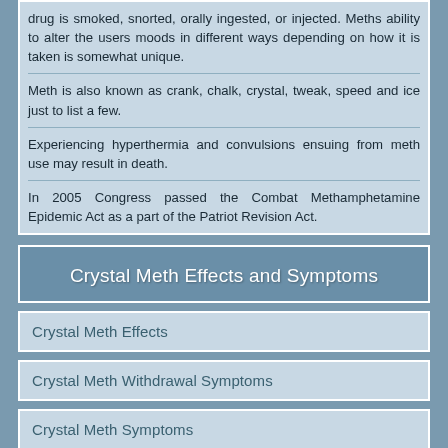drug is smoked, snorted, orally ingested, or injected. Meths ability to alter the users moods in different ways depending on how it is taken is somewhat unique.
Meth is also known as crank, chalk, crystal, tweak, speed and ice just to list a few.
Experiencing hyperthermia and convulsions ensuing from meth use may result in death.
In 2005 Congress passed the Combat Methamphetamine Epidemic Act as a part of the Patriot Revision Act.
Crystal Meth Effects and Symptoms
Crystal Meth Effects
Crystal Meth Withdrawal Symptoms
Crystal Meth Symptoms
Crystal Meth Side Effects
Crystal Meth Overdose
Injecting Meth